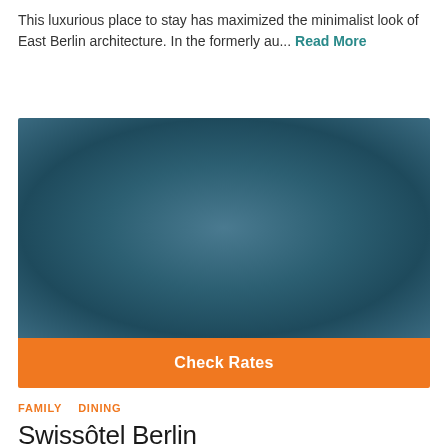This luxurious place to stay has maximized the minimalist look of East Berlin architecture. In the formerly au... Read More
[Figure (photo): Hotel exterior or interior photo shown as a dark teal/blue blurred image]
Check Rates
FAMILY   DINING
Swissôtel Berlin